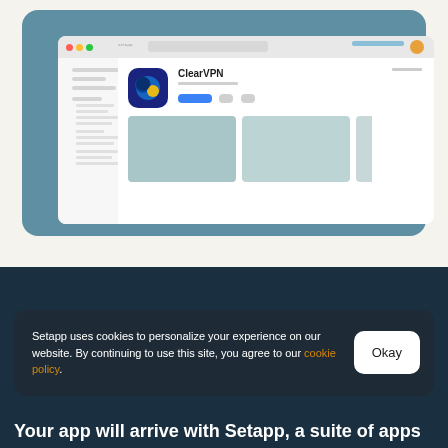[Figure (screenshot): Browser window mockup showing Setapp app store with ClearVPN app listing, including app icon, name, install button, and screenshot placeholders, on a teal/blue-green card background]
[Figure (screenshot): Dark teal background section of Setapp website]
Setapp uses cookies to personalize your experience on our website. By continuing to use this site, you agree to our cookie policy.
Your app will arrive with Setapp, a suite of apps